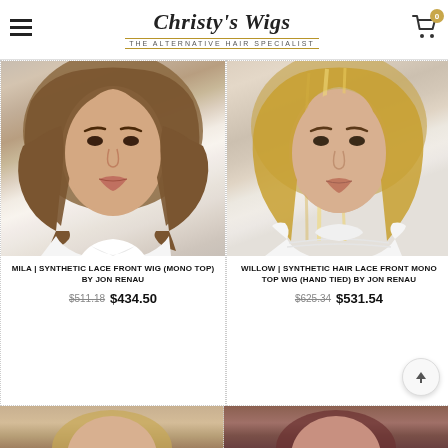Christy's Wigs — The Alternative Hair Specialist
[Figure (photo): Woman wearing MILA synthetic lace front wig (mono top) by Jon Renau — shoulder-length wavy brown hair, white V-neck top]
MILA | SYNTHETIC LACE FRONT WIG (MONO TOP) BY JON RENAU
$511.18  $434.50
[Figure (photo): Woman wearing WILLOW synthetic hair lace front mono top wig (hand tied) by Jon Renau — long blonde highlighted hair, white sleeveless knit top]
WILLOW | SYNTHETIC HAIR LACE FRONT MONO TOP WIG (HAND TIED) BY JON RENAU
$625.34  $531.54
[Figure (photo): Partial view of another wig product — bottom of page left]
[Figure (photo): Partial view of another wig product — bottom of page right]